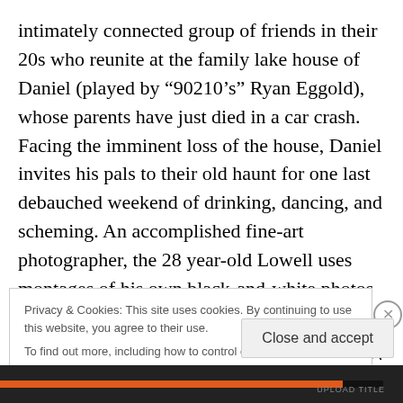intimately connected group of friends in their 20s who reunite at the family lake house of Daniel (played by “90210’s” Ryan Eggold), whose parents have just died in a car crash. Facing the imminent loss of the house, Daniel invites his pals to their old haunt for one last debauched weekend of drinking, dancing, and scheming. An accomplished fine-art photographer, the 28 year-old Lowell uses montages of his own black-and-white photos throughout “Beside Still Waters” to represent Daniel’s haunted memories. Writer & Producer Mo Narang will attend. Screens with Simon Christen’s Adrift (2013), a
Privacy & Cookies: This site uses cookies. By continuing to use this website, you agree to their use. To find out more, including how to control cookies, see here: Cookie Policy
Close and accept